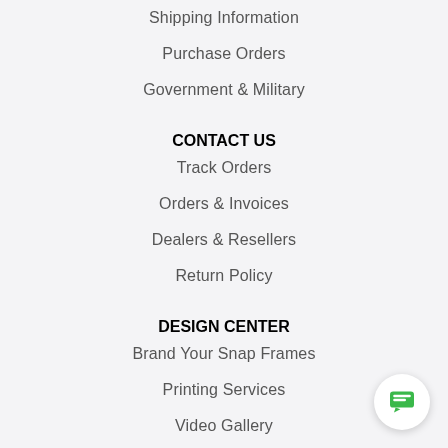Shipping Information
Purchase Orders
Government & Military
CONTACT US
Track Orders
Orders & Invoices
Dealers & Resellers
Return Policy
DESIGN CENTER
Brand Your Snap Frames
Printing Services
Video Gallery
FAQs